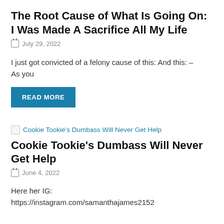The Root Cause of What Is Going On: I Was Made A Sacrifice All My Life
July 29, 2022
I just got convicted of a felony cause of this: And this: – As you
[Figure (other): READ MORE button (teal/blue rectangle with white uppercase text)]
[Figure (other): Thumbnail image link: Cookie Tookie's Dumbass Will Never Get Help]
Cookie Tookie's Dumbass Will Never Get Help
June 4, 2022
Here her IG:
https://instagram.com/samanthajames2152